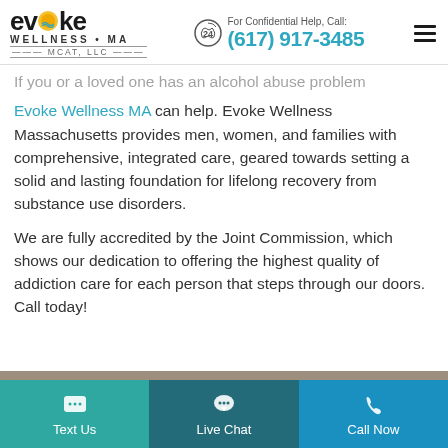[Figure (logo): Evoke Wellness MA MCAT LLC logo with sun/wave icon]
For Confidential Help, Call: (617) 917-3485
If you or a loved one has an alcohol abuse problem Evoke Wellness MA can help. Evoke Wellness Massachusetts provides men, women, and families with comprehensive, integrated care, geared towards setting a solid and lasting foundation for lifelong recovery from substance use disorders.
We are fully accredited by the Joint Commission, which shows our dedication to offering the highest quality of addiction care for each person that steps through our doors. Call today!
[Figure (infographic): Bottom navigation bar with Text Us, Live Chat, and Call Now buttons]